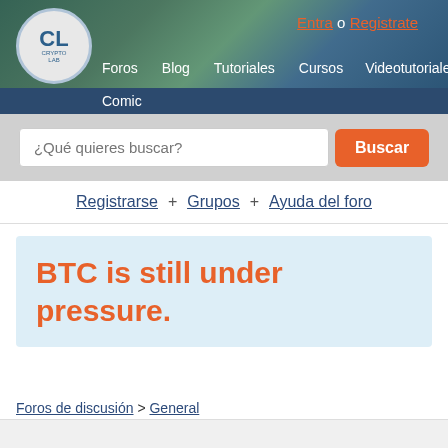CL CRYPTOLAB - Entra o Registrate
Foros | Blog | Tutoriales | Cursos | Videotutoriales | Comic
¿Qué quieres buscar? Buscar
Registrarse + Grupos + Ayuda del foro
BTC is still under pressure.
Foros de discusión > General